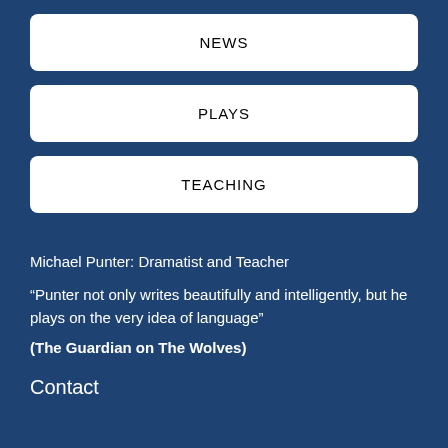NEWS
PLAYS
TEACHING
Michael Punter: Dramatist and Teacher
“Punter not only writes beautifully and intelligently, but he plays on the very idea of language”
(The Guardian on The Wolves)
Contact